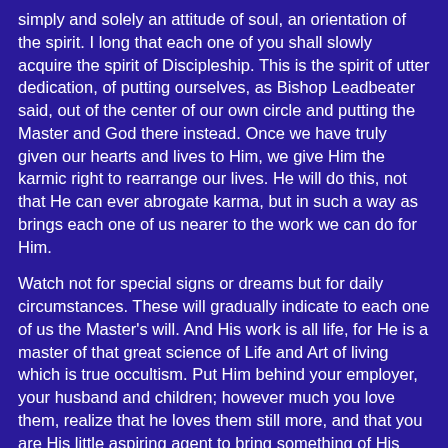simply and solely an attitude of soul, an orientation of the spirit. I long that each one of you shall slowly acquire the spirit of Discipleship. This is the spirit of utter dedication, of putting ourselves, as Bishop Leadbeater said, out of the center of our own circle and putting the Master and God there instead. Once we have truly given our hearts and lives to Him, we give Him the karmic right to rearrange our lives. He will do this, not that He can ever abrogate karma, but in such a way as brings each one of us nearer to the work we can do for Him.
Watch not for special signs or dreams but for daily circumstances. These will gradually indicate to each one of us the Master's will. And His work is all life, for He is a master of that great science of Life and Art of living which is true occultism. Put Him behind your employer, your husband and children; however much you love them, realize that he loves them still more, and that you are His little aspiring agent to bring something of His love and strength to all others; to those you love, and to those you meet in business or pleasure.
So, He wants us to set an example of beautiful living: to be lovely mothers, splendid business men, and so on, because we are to be His one day - nay, if we will it in our own hearts,